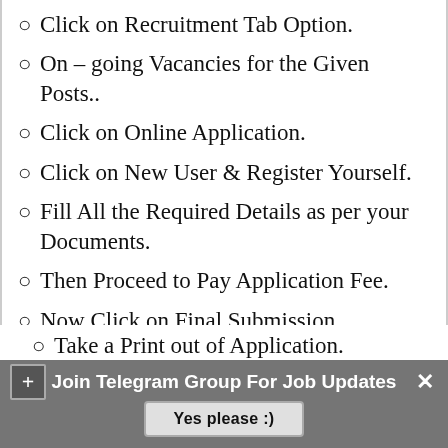Click on Recruitment Tab Option.
On – going Vacancies for the Given Posts..
Click on Online Application.
Click on New User & Register Yourself.
Fill All the Required Details as per your Documents.
Then Proceed to Pay Application Fee.
Now Click on Final Submission.
Take a Print out of Application.
Join Telegram Group For Job Updates
Yes please :)